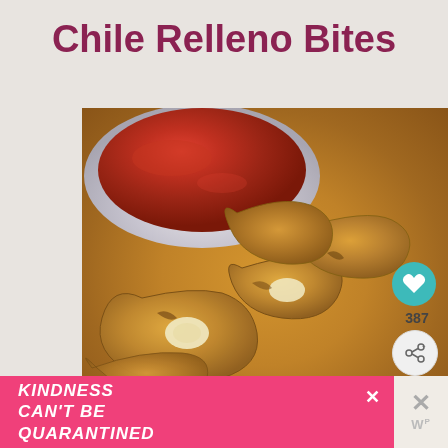Chile Relleno Bites
[Figure (photo): Close-up photo of fried chile relleno bites piled together with a bowl of red dipping sauce in the background. The bites are golden-brown fried pouches with melted white cheese visible inside some of them.]
[Figure (infographic): Social media UI overlay: teal heart/like button, count of 387, and a share button on the right side. A 'What's Next' card shows a thumbnail of Peach Chicken dish.]
[Figure (infographic): Pink advertisement banner at the bottom reading 'KINDNESS CAN'T BE QUARANTINED' with a close button and brand logo on the right.]